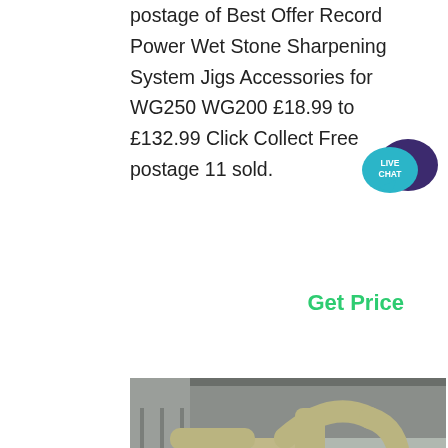postage of Best Offer Record Power Wet Stone Sharpening System Jigs Accessories for WG250 WG200 £18.99 to £132.99 Click Collect Free postage 11 sold.
[Figure (other): Live Chat speech bubble icon with teal/dark purple colors and 'LIVE CHAT' text]
Get Price
[Figure (photo): Industrial grinding mill or sharpening machine in a factory setting. Large beige/tan colored cylindrical machinery with pipes and ducts, white control panel on right side, inside a large industrial building.]
tool sharpening supplies UK chisel sharpening machines